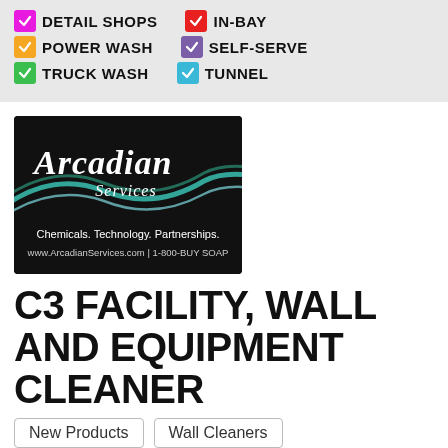DETAIL SHOPS, IN-BAY, POWER WASH, SELF-SERVE, TRUCK WASH, TUNNEL
[Figure (logo): Arcadian Services logo — dark background with swooping wave lines in teal and light blue, text: 'Arcadian Services', 'Chemicals. Technology. Partnerships.', 'www.ArcadianServices.com | 1-800-BUY SOAP']
C3 FACILITY, WALL AND EQUIPMENT CLEANER
New Products
Wall Cleaners
A Non-Hazardous acidic facility, wall and equipment cleaner designed with next generation technology of